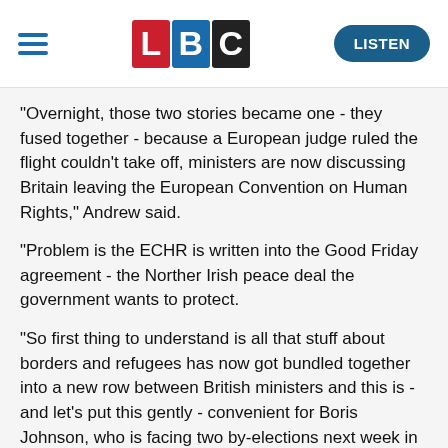LBC — LISTEN
"Overnight, those two stories became one - they fused together - because a European judge ruled the flight couldn't take off, ministers are now discussing Britain leaving the European Convention on Human Rights," Andrew said.
"Problem is the ECHR is written into the Good Friday agreement - the Norther Irish peace deal the government wants to protect.
"So first thing to understand is all that stuff about borders and refugees has now got bundled together into a new row between British ministers and this is - and let's put this gently - convenient for Boris Johnson, who is facing two by-elections next week in Wakefield and Tiverton.
"Lose both and his position inside the Tory party wobbles